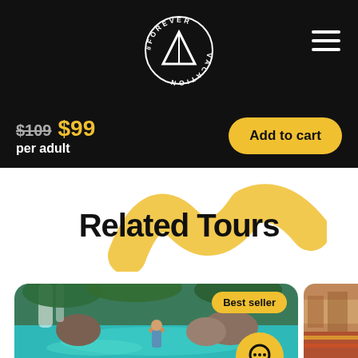[Figure (logo): Forever Vacation logo - circular text around a triangle/arrow symbol, white on black]
$109 $99
per adult
Add to cart
Related Tours
[Figure (photo): Waterfall and turquoise pool scene with a person standing in the water, viewed from behind; Best seller badge overlay]
[Figure (photo): Partially visible second tour card on the right edge]